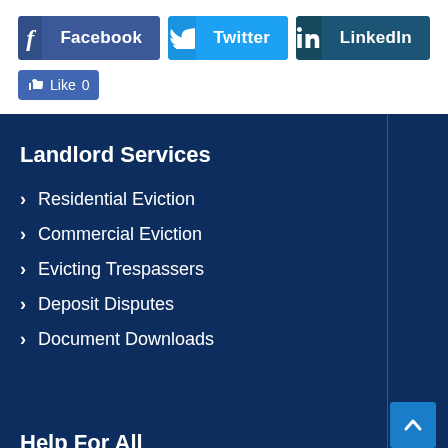[Figure (other): Social share buttons: Facebook, Twitter, LinkedIn and a Like button with count 0]
Landlord Services
Residential Eviction
Commercial Eviction
Evicting Trespassers
Deposit Disputes
Document Downloads
Help For All